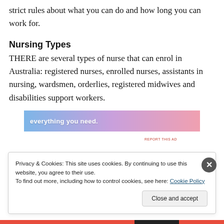strict rules about what you can do and how long you can work for.
Nursing Types
THERE are several types of nurse that can enrol in Australia: registered nurses, enrolled nurses, assistants in nursing, wardsmen, orderlies, registered midwives and disabilities support workers.
[Figure (other): Advertisement banner with text 'everything you need.' and gradient background from blue to pink/purple.]
REPORT THIS AD
Privacy & Cookies: This site uses cookies. By continuing to use this website, you agree to their use.
To find out more, including how to control cookies, see here: Cookie Policy
Close and accept